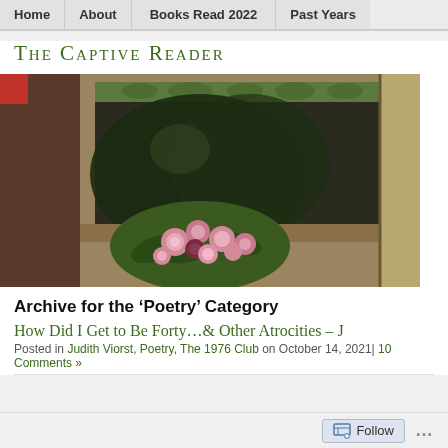Home | About | Books Read 2022 | Past Years
The Captive Reader
[Figure (photo): Painting of pink roses in front of an ornate dark wooden cabinet or mantelpiece with green decorative scrollwork, interior scene]
Archive for the ‘Poetry’ Category
How Did I Get to Be Forty…& Other Atrocities – J
Posted in Judith Viorst, Poetry, The 1976 Club on October 14, 2021| 10 Comments »
Follow ...